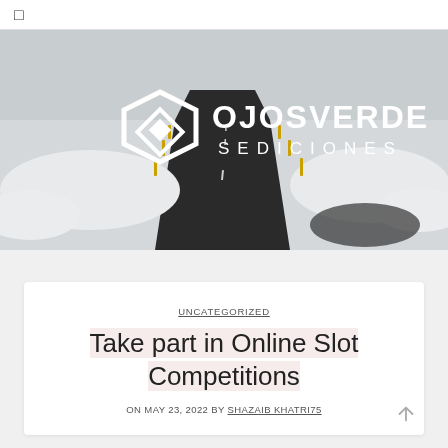☰
[Figure (photo): A winding dark asphalt road through a snowy winter landscape, with yellow posts along the roadside. Overlaid with the OJOSVERDE SEDICIONES logo — a white geometric diamond/shield icon and bold white text reading OJOSVERDE SEDICIONES.]
UNCATEGORIZED
Take part in Online Slot Competitions
ON MAY 23, 2022 BY SHAZAIB KHATRI75